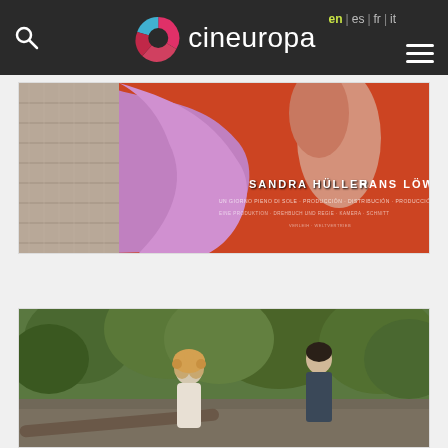cineuropa — en | es | fr | it
[Figure (photo): Movie poster with textile/fabric elements in pink, purple and orange tones. Text reads: SANDRA HÜLLER  HANS LÖW]
[Figure (photo): Film still showing a woman with curly blonde hair in a light dress and a man in a dark shirt standing in a forest setting]